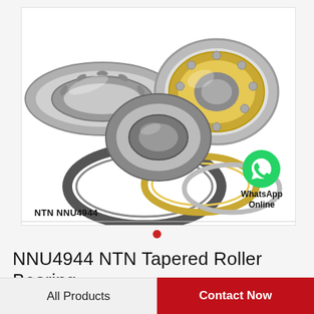[Figure (photo): Multiple tapered roller bearings and ball bearings arranged together on a white background, showing various bearing types including NTN NNU4944]
NTN NNU4944
[Figure (logo): WhatsApp green circle icon with phone handset, labeled WhatsApp Online]
NNU4944 NTN Tapered Roller Bearing
All Products
Contact Now